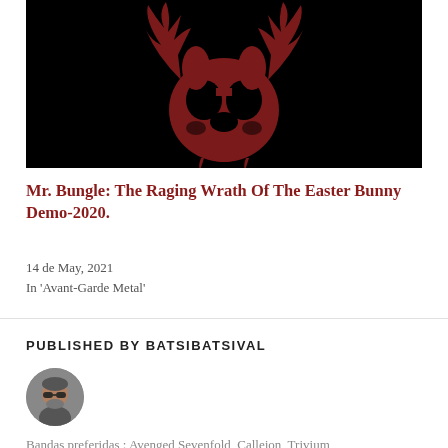[Figure (illustration): Black background with a dark red stylized rabbit skull / bunny head logo illustration]
Mr. Bungle: The Raging Wrath Of The Easter Bunny Demo-2020.
14 de May, 2021
In 'Avant-Garde Metal'
PUBLISHED BY BATSIBATSIVAL
[Figure (photo): Circular avatar photo of a man with sunglasses and beard]
Bandas preferidas : Avenged Sevenfold, Callejon, Trivium,